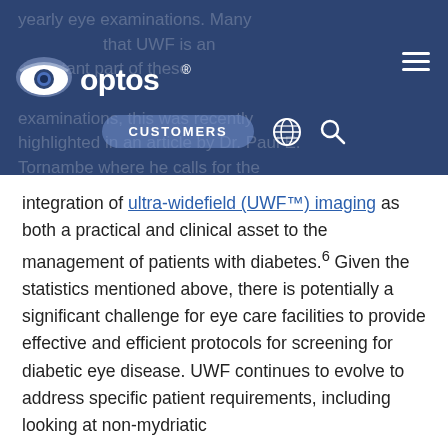[Figure (logo): Optos logo — eye icon with 'optos' wordmark and registered trademark symbol on dark blue navigation bar]
yearly eye examinations. Many believe that UWF is an important part of these examinations, this was recently highlighted in an article by Dr. Paul E. Tornambe where he calls for the integration of ultra-widefield (UWF™) imaging as both a practical and clinical asset to the management of patients with diabetes.6 Given the statistics mentioned above, there is potentially a significant challenge for eye care facilities to provide effective and efficient protocols for screening for diabetic eye disease. UWF continues to evolve to address specific patient requirements, including looking at non-mydriatic